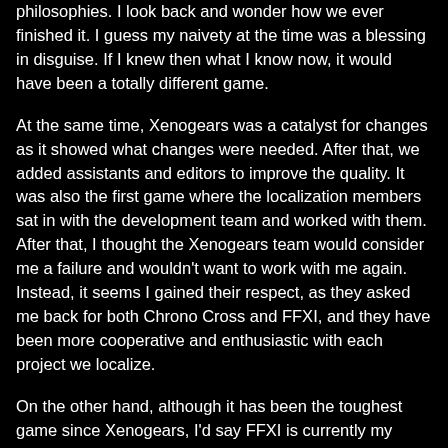philosophies. I look back and wonder how we ever finished it. I guess my naivety at the time was a blessing in disguise. If I knew then what I know now, it would have been a totally different game.
At the same time, Xenogears was a catalyst for changes as it showed what changes were needed. After that, we added assistants and editors to improve the quality. It was also the first game where the localization members sat in with the development team and worked with them. After that, I thought the Xenogears team would consider me a failure and wouldn't want to work with me again. Instead, it seems I gained their respect, as they asked me back for both Chrono Cross and FFXI, and they have been more cooperative and enthusiastic with each project we localize.
On the other hand, although it has been the toughest game since Xenogears, I'd say FFXI is currently my favorite. I am proud of what we have achieved. Despite